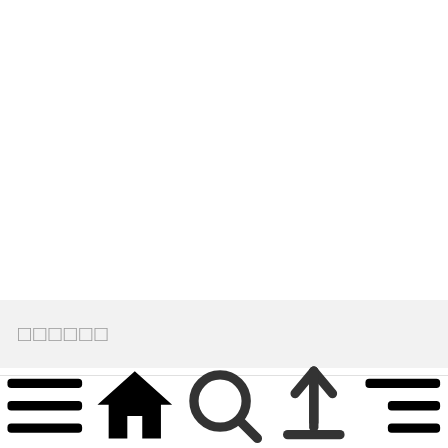□□□□□□
Methods: Biomechanical outcomes were collected 6-24
□□□□  □□□□  □□  □□□□  □□□□□□